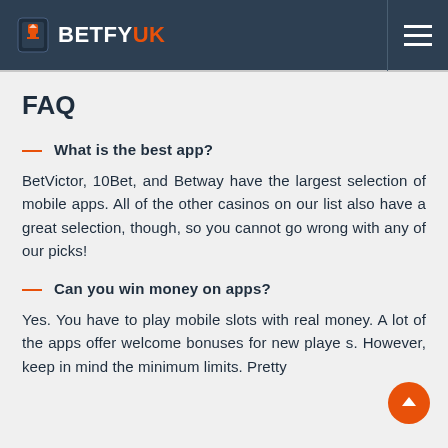BETFYUK
FAQ
What is the best app?
BetVictor, 10Bet, and Betway have the largest selection of mobile apps. All of the other casinos on our list also have a great selection, though, so you cannot go wrong with any of our picks!
Can you win money on apps?
Yes. You have to play mobile slots with real money. A lot of the apps offer welcome bonuses for new players. However, keep in mind the minimum limits. Pretty